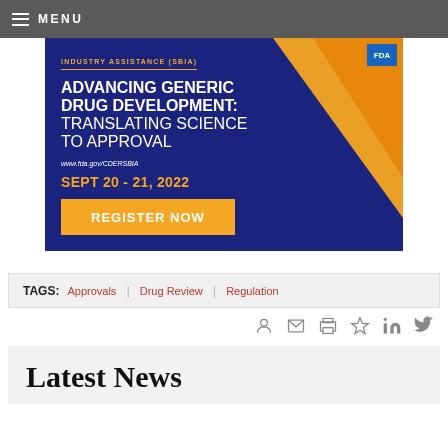MENU
[Figure (infographic): FDA advertisement banner for 'Advancing Generic Drug Development: Translating Science to Approval' event, Sept 20-21, 2022, with orange diagonal design elements and REGISTER NOW button.]
TAGS: Approvals | Drug Review | Regulation
Latest News